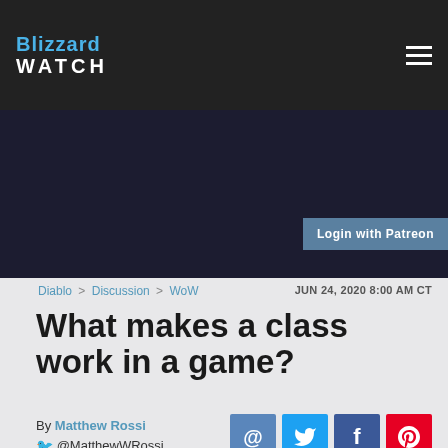Blizzard WATCH
Login with Patreon
Diablo > Discussion > WoW   JUN 24, 2020 8:00 AM CT
What makes a class work in a game?
By Matthew Rossi
@MatthewWRossi
[Figure (screenshot): Fantasy game character artwork showing a dark creature with blue/purple glowing effects, appears to be from World of Warcraft or Diablo]
@ Twitter f Pinterest social share buttons